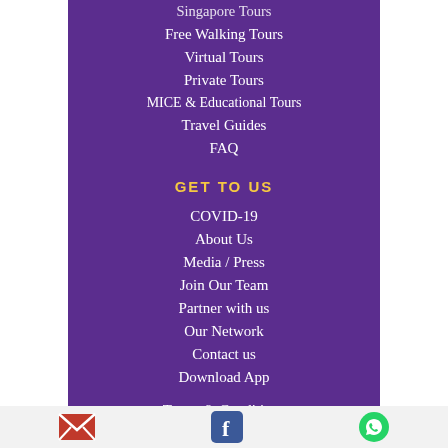Singapore Tours
Free Walking Tours
Virtual Tours
Private Tours
MICE & Educational Tours
Travel Guides
FAQ
GET TO US
COVID-19
About Us
Media / Press
Join Our Team
Partner with us
Our Network
Contact us
Download App
Terms & Conditions
Email icon | Facebook icon | WhatsApp icon